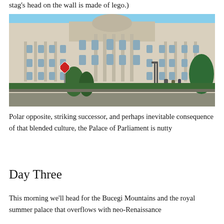stag's head on the wall is made of lego.)
[Figure (photo): Exterior photograph of the Palace of Parliament in Bucharest, Romania. A large ornate neoclassical building with many columns and arched windows under a blue sky. In the foreground there is a road, trees, a stop sign, and a few people standing near the entrance.]
Polar opposite, striking successor, and perhaps inevitable consequence of that blended culture, the Palace of Parliament is nutty
Day Three
This morning we'll head for the Bucegi Mountains and the royal summer palace that overflows with neo-Renaissance